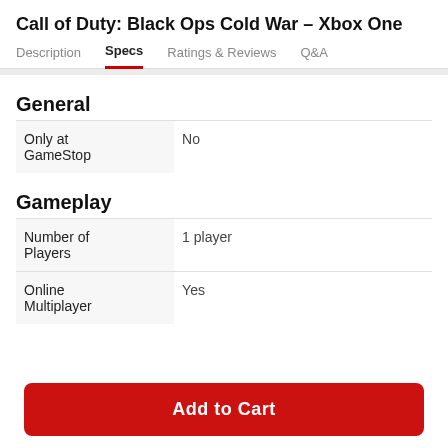Call of Duty: Black Ops Cold War - Xbox One
Description | Specs | Ratings & Reviews | Q&A
General
|  |  |
| --- | --- |
| Only at GameStop | No |
Gameplay
|  |  |
| --- | --- |
| Number of Players | 1 player |
| Online Multiplayer | Yes |
Add to Cart